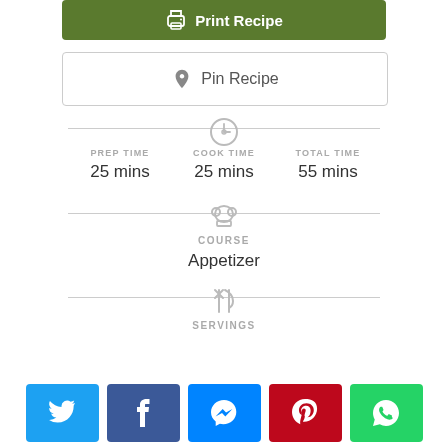[Figure (screenshot): Green Print Recipe button with printer icon]
[Figure (screenshot): Pin Recipe button with Pinterest icon, outlined border]
PREP TIME
25 mins
COOK TIME
25 mins
TOTAL TIME
55 mins
COURSE
Appetizer
SERVINGS
[Figure (screenshot): Social share buttons: Twitter, Facebook, Messenger, Pinterest, WhatsApp]